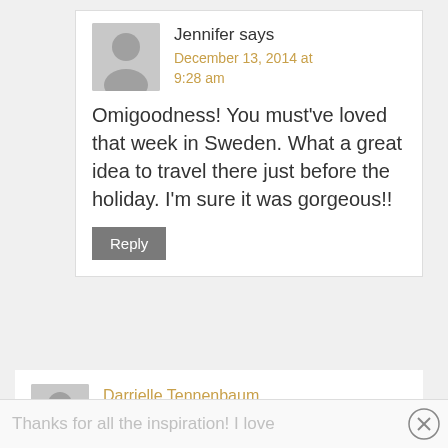Jennifer says
December 13, 2014 at 9:28 am
Omigoodness! You must've loved that week in Sweden. What a great idea to travel there just before the holiday. I'm sure it was gorgeous!!
Reply
Darrielle Tennenbaum says
December 13, 2014 at 9:08 am
Thanks for all the inspiration! I love